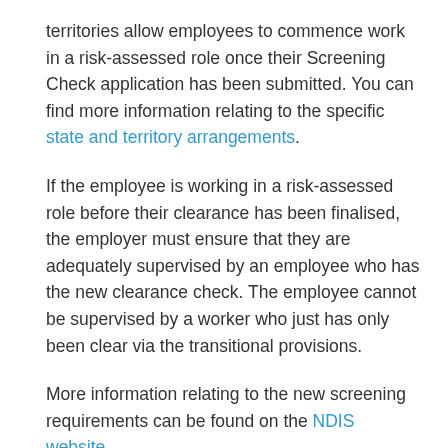territories allow employees to commence work in a risk-assessed role once their Screening Check application has been submitted. You can find more information relating to the specific state and territory arrangements.
If the employee is working in a risk-assessed role before their clearance has been finalised, the employer must ensure that they are adequately supervised by an employee who has the new clearance check. The employee cannot be supervised by a worker who just has only been clear via the transitional provisions.
More information relating to the new screening requirements can be found on the NDIS website.